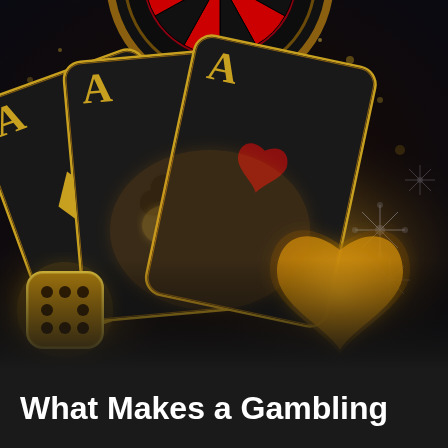[Figure (illustration): A dramatic, dark-themed casino illustration featuring three large dark playing cards (Ace of Diamonds, Ace of Clubs, Ace of Hearts) fanned out in the center with gold trim and golden letter A on each card. A roulette wheel is visible in the background at the top. A golden die sits in the bottom left. A large golden heart symbol glows in the lower right area. Sparkling light effects and bokeh decorate the background. The overall color palette is dark black, gold, and amber tones with glowing light effects.]
What Makes a Gambling